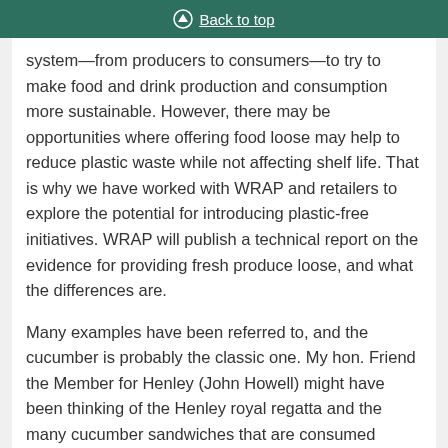Back to top
system—from producers to consumers—to try to make food and drink production and consumption more sustainable. However, there may be opportunities where offering food loose may help to reduce plastic waste while not affecting shelf life. That is why we have worked with WRAP and retailers to explore the potential for introducing plastic-free initiatives. WRAP will publish a technical report on the evidence for providing fresh produce loose, and what the differences are.
Many examples have been referred to, and the cucumber is probably the classic one. My hon. Friend the Member for Henley (John Howell) might have been thinking of the Henley royal regatta and the many cucumber sandwiches that are consumed